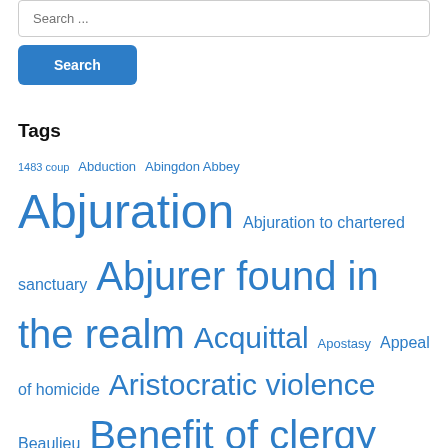[Figure (screenshot): Search input box with placeholder text 'Search ...' and a blue 'Search' button below it]
Tags
1483 coup Abduction Abingdon Abbey Abjuration Abjuration to chartered sanctuary Abjurer found in the realm Acquittal Apostasy Appeal of homicide Aristocratic violence Beaulieu Benefit of clergy Beverley Bewdley Burglary Clerical sanctuary seekers Colchester St John Abbey Culham Debt Durham Edward IV Escape from custody Execution as traitor Execution by beheading Execution by hanging Greenwich (Sheen manor) Henry